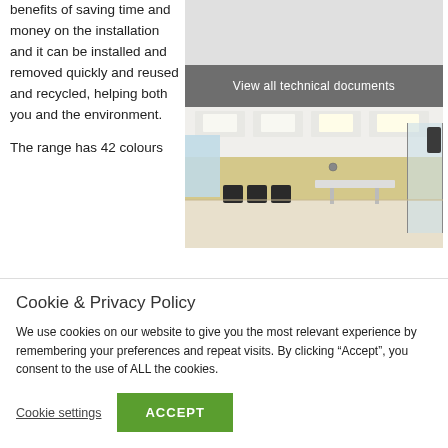benefits of saving time and money on the installation and it can be installed and removed quickly and reused and recycled, helping both you and the environment.
[Figure (screenshot): Gray placeholder box for a document or image area]
View all technical documents
[Figure (photo): Interior photo of a bright open-plan room with white ceiling panels, yellow walls, and dark chairs by large windows]
The range has 42 colours
Cookie & Privacy Policy
We use cookies on our website to give you the most relevant experience by remembering your preferences and repeat visits. By clicking “Accept”, you consent to the use of ALL the cookies.
Cookie settings
ACCEPT